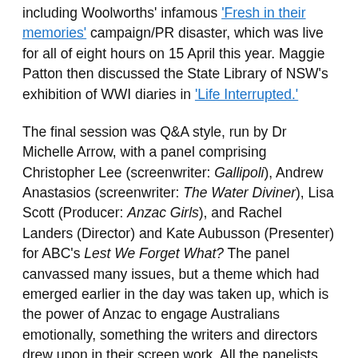including Woolworths' infamous 'Fresh in their memories' campaign/PR disaster, which was live for all of eight hours on 15 April this year. Maggie Patton then discussed the State Library of NSW's exhibition of WWI diaries in 'Life Interrupted.'
The final session was Q&A style, run by Dr Michelle Arrow, with a panel comprising Christopher Lee (screenwriter: Gallipoli), Andrew Anastasios (screenwriter: The Water Diviner), Lisa Scott (Producer: Anzac Girls), and Rachel Landers (Director) and Kate Aubusson (Presenter) for ABC's Lest We Forget What? The panel canvassed many issues, but a theme which had emerged earlier in the day was taken up, which is the power of Anzac to engage Australians emotionally, something the writers and directors drew upon in their screen work. All the panelists expressed their essentially anti-war motivations. Lee channelled this into as realistic as possible a depiction of the violence and ugliness of war in his Gallipoli—a stark contrast with Weir's version, which contains virtually no combat. I would do the panellists a